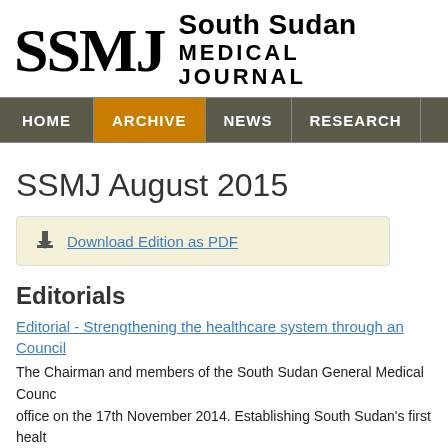[Figure (logo): SSMJ South Sudan Medical Journal logo with bold serif SSMJ letters and sans-serif text]
HOME | ARCHIVE | NEWS | RESEARCH
SSMJ August 2015
Download Edition as PDF
Editorials
Editorial - Strengthening the healthcare system through an Council
The Chairman and members of the South Sudan General Medical Council office on the 17th November 2014. Establishing South Sudan's first health process plagued by human capital, fiscal and infrastructure challenges. D challenges, the SSGMC has finally established its authority to set standards pharmaceutical practice in the country.